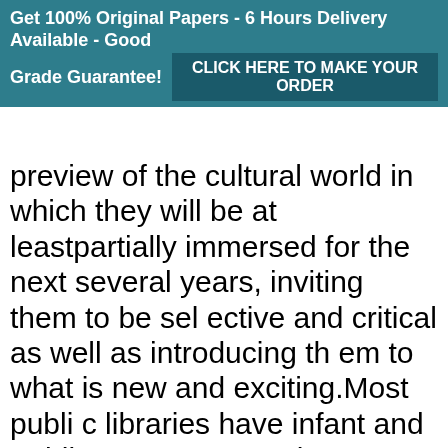Get 100% Original Papers - 6 Hours Delivery Available - Good Grade Guarantee! CLICK HERE TO MAKE YOUR ORDER
preview of the cultural world in which they will be at leastpartially immersed for the next several years, inviting them to be selective and critical as well as introducing them to what is new and exciting.Most public libraries have infant and toddler programs and storytimes specially designed for various ages through preschool. These outingscan also help make expectant siblings feel involved in the welcoming of the new baby. Parents can ask their children which books they thinkthe baby would like, and allow them to pick books that they can “read” to the baby during a family reading time. As an early childhood educatoror daycar